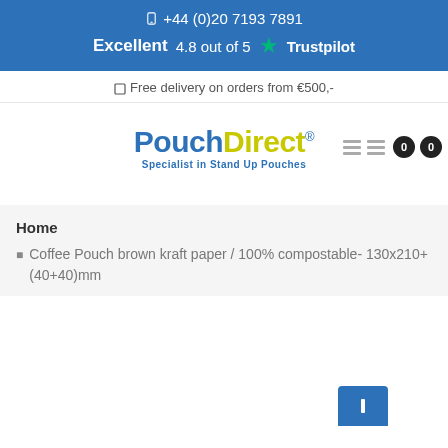+44 (0)20 7193 7891
Excellent  4.8 out of 5  ★  Trustpilot
🔲 Free delivery on orders from €500,-
[Figure (logo): PouchDirect logo - Specialist in Stand Up Pouches]
Home
› Coffee Pouch brown kraft paper / 100% compostable- 130x210+(40+40)mm